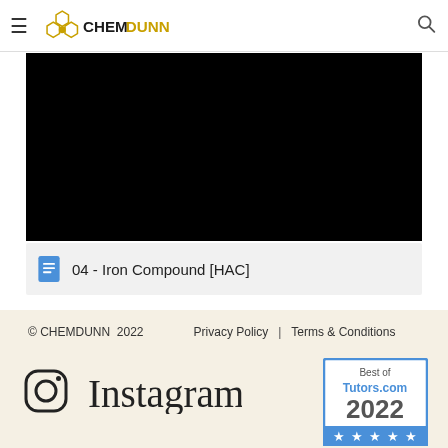CHEMDUNN
[Figure (screenshot): Black video player area]
04 - Iron Compound [HAC]
© CHEMDUNN 2022  Privacy Policy | Terms & Conditions
[Figure (logo): Instagram logo with text]
[Figure (logo): Best of Tutors.com 2022 badge with 5 stars]